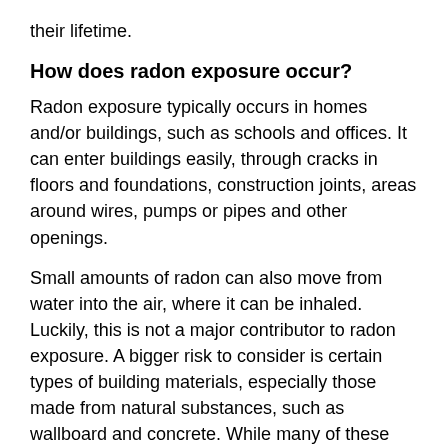their lifetime.
How does radon exposure occur?
Radon exposure typically occurs in homes and/or buildings, such as schools and offices. It can enter buildings easily, through cracks in floors and foundations, construction joints, areas around wires, pumps or pipes and other openings.
Small amounts of radon can also move from water into the air, where it can be inhaled. Luckily, this is not a major contributor to radon exposure. A bigger risk to consider is certain types of building materials, especially those made from natural substances, such as wallboard and concrete. While many of these materials emit low levels of radon, that is not always the case.
Take granite countertops, for example. Most health professionals will agree that, in the majority of cases,